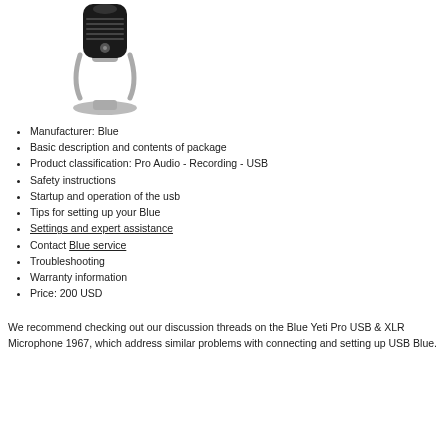[Figure (photo): Photo of a Blue Yeti Pro USB microphone on a silver stand against a white background.]
Manufacturer: Blue
Basic description and contents of package
Product classification: Pro Audio - Recording - USB
Safety instructions
Startup and operation of the usb
Tips for setting up your Blue
Settings and expert assistance
Contact Blue service
Troubleshooting
Warranty information
Price: 200 USD
We recommend checking out our discussion threads on the Blue Yeti Pro USB & XLR Microphone 1967, which address similar problems with connecting and setting up USB Blue.